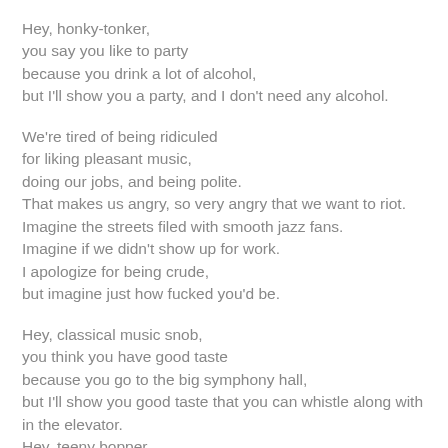Hey, honky-tonker,
you say you like to party
because you drink a lot of alcohol,
but I'll show you a party, and I don't need any alcohol.
We're tired of being ridiculed
for liking pleasant music,
doing our jobs, and being polite.
That makes us angry, so very angry that we want to riot.
Imagine the streets filed with smooth jazz fans.
Imagine if we didn't show up for work.
I apologize for being crude,
but imagine just how fucked you'd be.
Hey, classical music snob,
you think you have good taste
because you go to the big symphony hall,
but I'll show you good taste that you can whistle along with in the elevator.
Hey, teeny bopper,
you think you're so hot
because you like what's popular,